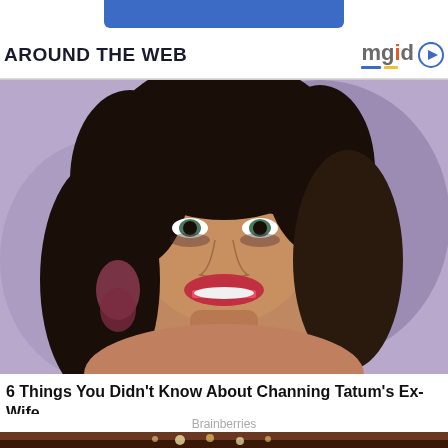[Figure (other): Blue rounded rectangle banner at top (partial, cropped)]
AROUND THE WEB
[Figure (logo): mgid logo with play button icon, blue and yellow underlines]
[Figure (photo): Close-up photo of a smiling woman with dark hair, wearing sparkly earrings, against a purple background]
6 Things You Didn't Know About Channing Tatum's Ex-Wife
Brainberries
[Figure (photo): Bottom portion of another image showing warm lighting and bokeh lights against a dark background]